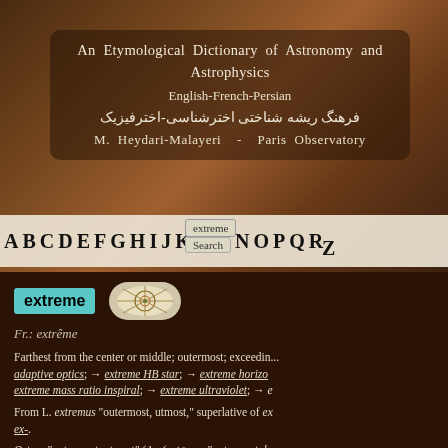An Etymological Dictionary of Astronomy and Astrophysics English-French-Persian
فرهنگ ریشه شناختی اخترشناسی-اخترفیزیک
M. Heydari-Malayeri  -  Paris Observatory
A B C D E F G H I J K L M N O P Q R ... Z  extreme  Search
extreme
Fr.: extrême
Farthest from the center or middle; outermost; exceeding... → adaptive optics; → extreme HB star; → extreme horizon...; → extreme mass ratio inspiral; → extreme ultraviolet; → e...
From L. extremus "outermost, utmost," superlative of ex-... ex-.
Ostom "outermost, utmost" (Av. (ustəma- "outermost, h... ex- + -tom superlative suffix from Mid Pers. -tom (cu...